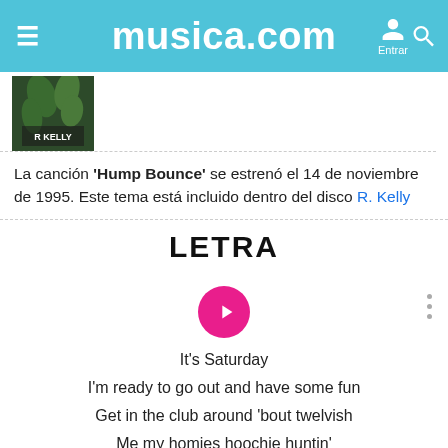musica.com
[Figure (photo): Album art thumbnail showing R. Kelly album cover with green plant imagery and text 'R KELLY']
La canción 'Hump Bounce' se estrenó el 14 de noviembre de 1995. Este tema está incluido dentro del disco R. Kelly
LETRA
[Figure (other): Pink circular play button icon]
It's Saturday
I'm ready to go out and have some fun
Get in the club around 'bout twelvish
Me my homies hoochie huntin'